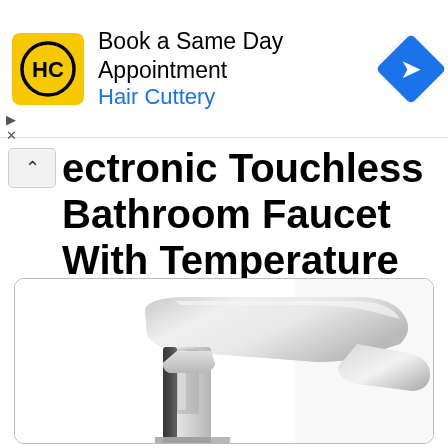[Figure (screenshot): Hair Cuttery advertisement banner with yellow logo, 'Book a Same Day Appointment' headline, 'Hair Cuttery' subtitle in blue, and a blue diamond arrow icon on the right.]
ectronic Touchless Bathroom Faucet With Temperature Control
[Figure (photo): Product photo of a chrome electronic touchless bathroom faucet with temperature control, showing sleek modern design with a rounded top head and chrome finish, mounted on a white background inside a rounded-corner box.]